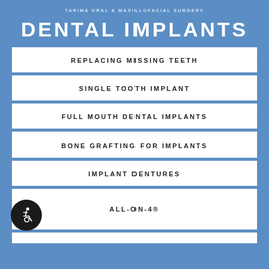TARIMA ORAL & MAXILLOFACIAL SURGERY
DENTAL IMPLANTS
REPLACING MISSING TEETH
SINGLE TOOTH IMPLANT
FULL MOUTH DENTAL IMPLANTS
BONE GRAFTING FOR IMPLANTS
IMPLANT DENTURES
ALL-ON-4®
[Figure (illustration): Wheelchair accessibility icon — white wheelchair symbol on dark circular background]